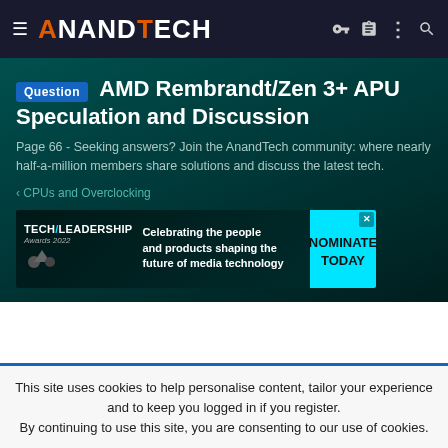AnandTech navigation bar
Question AMD Rembrandt/Zen 3+ APU Speculation and Discussion
Page 66 - Seeking answers? Join the AnandTech community: where nearly half-a-million members share solutions and discuss the latest tech.
< CPUs and Overclocking
[Figure (infographic): Tech Leadership Awards 2022 advertisement banner: Celebrating the people and products shaping the future of media technology. NOMINATE TODAY call-to-action button.]
This site uses cookies to help personalise content, tailor your experience and to keep you logged in if you register. By continuing to use this site, you are consenting to our use of cookies.